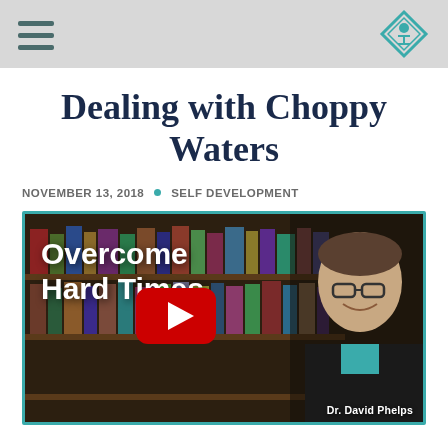Navigation header with hamburger menu and diamond logo
Dealing with Choppy Waters
NOVEMBER 13, 2018 · SELF DEVELOPMENT
[Figure (screenshot): YouTube video thumbnail showing a man (Dr. David Phelps) smiling in front of a bookshelf with text 'Overcome Hard Times' and a YouTube play button overlay. Caption reads 'Dr. David Phelps'.]